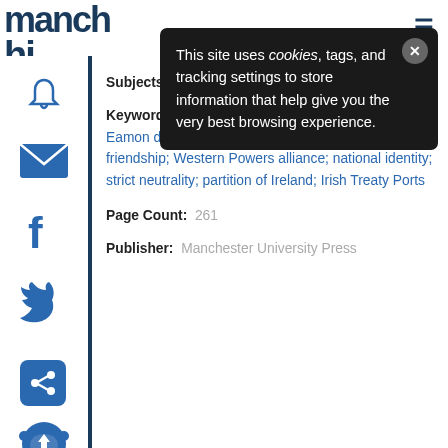manch hi
This site uses cookies, tags, and tracking settings to store information that help give you the very best browsing experience.
Subjects: History
Keywords: Winston Churchill; Franklin Roosevelt; Eamon de Valera; hegemonic masculinity; fraternal friendship; Western Powers alliance; national identity; strict neutrality; partition of Ireland; Irish Treaty Ports
Page Count: 261
Publisher: Manchester University Press